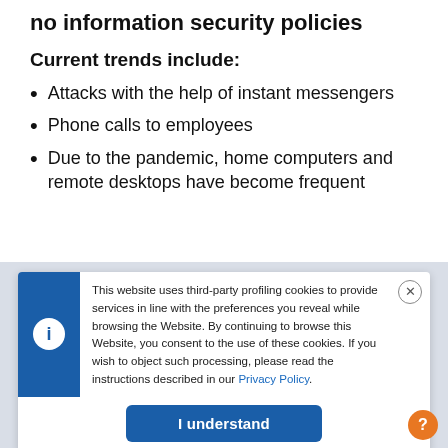no information security policies
Current trends include:
Attacks with the help of instant messengers
Phone calls to employees
Due to the pandemic, home computers and remote desktops have become frequent
This website uses third-party profiling cookies to provide services in line with the preferences you reveal while browsing the Website. By continuing to browse this Website, you consent to the use of these cookies. If you wish to object such processing, please read the instructions described in our Privacy Policy.